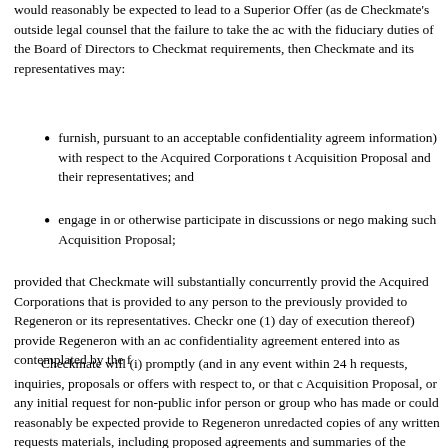would reasonably be expected to lead to a Superior Offer (as de Checkmate's outside legal counsel that the failure to take the ac with the fiduciary duties of the Board of Directors to Checkmat requirements, then Checkmate and its representatives may:
furnish, pursuant to an acceptable confidentiality agreem information) with respect to the Acquired Corporations t Acquisition Proposal and their representatives; and
engage in or otherwise participate in discussions or nego making such Acquisition Proposal;
provided that Checkmate will substantially concurrently provid the Acquired Corporations that is provided to any person to the previously provided to Regeneron or its representatives. Checkr one (1) day of execution thereof) provide Regeneron with an ac confidentiality agreement entered into as contemplated by the f
Checkmate will (i) promptly (and in any event within 24 h requests, inquiries, proposals or offers with respect to, or that c Acquisition Proposal, or any initial request for non-public infor person or group who has made or could reasonably be expected provide to Regeneron unredacted copies of any written requests materials, including proposed agreements and summaries of the inquiries, proposals or offers, the name of any such person or g unwritten terms and conditions thereof, and the nature of any in reasonably informed of any material developments, discussions Proposal or any requests, inquiries, proposals or offers (includir amendments thereto) on a prompt basis (and in any event withir discussion or negotiation) and (iii) upon the request of Regener status of such Acquisition Proposal.